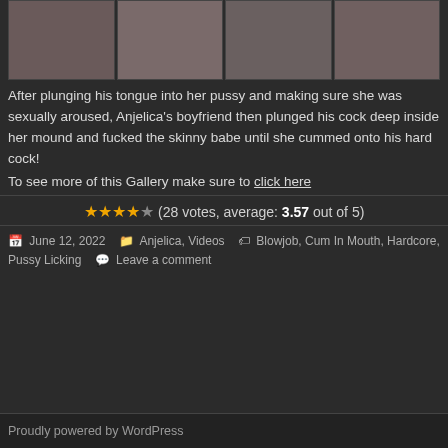[Figure (photo): Strip of four adult content thumbnail images side by side]
After plunging his tongue into her pussy and making sure she was sexually aroused, Anjelica's boyfriend then plunged his cock deep inside her mound and fucked the skinny babe until she cummed onto his hard cock!
To see more of this Gallery make sure to click here
(28 votes, average: 3.57 out of 5)
June 12, 2022   Anjelica, Videos   Blowjob, Cum In Mouth, Hardcore, Pussy Licking   Leave a comment
Proudly powered by WordPress